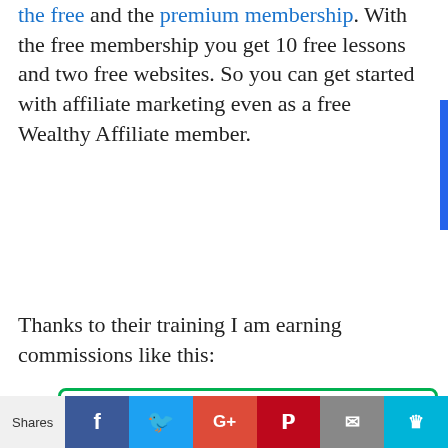the free and the premium membership. With the free membership you get 10 free lessons and two free websites. So you can get started with affiliate marketing even as a free Wealthy Affiliate member.
Thanks to their training I am earning commissions like this:
[Figure (screenshot): Screenshot of affiliate commission dashboard showing dates (Nov 25-26, 2018), amounts ($130, $130, $125, $130, $130, $23.5), blurred names, type (Sale/Recurring), and status (Approved). A red arrow points to recurring entries and a red stamp reads 'I EARN AFFILIATE COMMISSIONS REGULARLY!']
Shares — Facebook, Twitter, Google+, Pinterest, Email, Crown